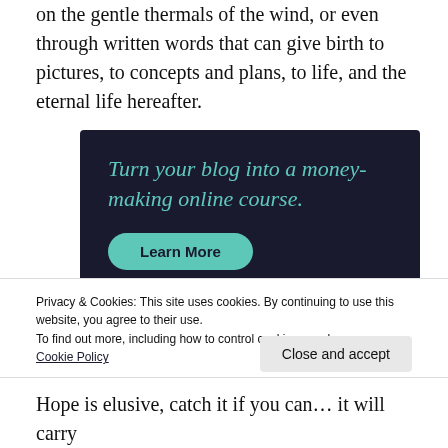on the gentle thermals of the wind, or even through written words that can give birth to pictures, to concepts and plans, to life, and the eternal life hereafter.
[Figure (infographic): Dark navy advertisement banner reading 'Turn your blog into a money-making online course.' with a teal 'Learn More' button]
Privacy & Cookies: This site uses cookies. By continuing to use this website, you agree to their use.
To find out more, including how to control cookies, see here:
Cookie Policy
Close and accept
Hope is elusive, catch it if you can… it will carry